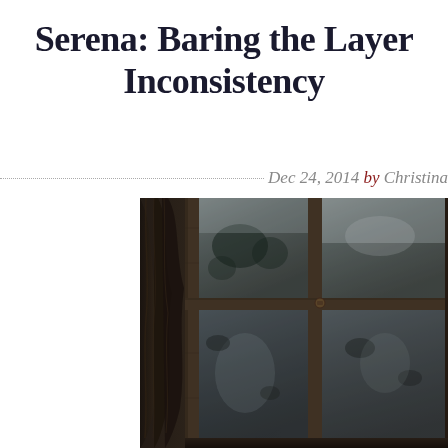Serena: Baring the Layers of Inconsistency
Dec 24, 2014 by Christina
[Figure (photo): Dark moody photograph of an old wooden window with dirty glass panes and a heavy curtain or drape on the left side, in desaturated brown/grey tones]